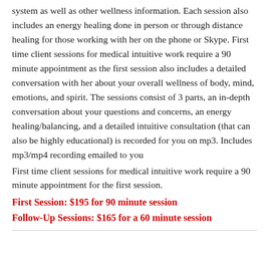system as well as other wellness information. Each session also includes an energy healing done in person or through distance healing for those working with her on the phone or Skype. First time client sessions for medical intuitive work require a 90 minute appointment as the first session also includes a detailed conversation with her about your overall wellness of body, mind, emotions, and spirit. The sessions consist of 3 parts, an in-depth conversation about your questions and concerns, an energy healing/balancing, and a detailed intuitive consultation (that can also be highly educational) is recorded for you on mp3. Includes mp3/mp4 recording emailed to you
First time client sessions for medical intuitive work require a 90 minute appointment for the first session.
First Session: $195 for 90 minute session
Follow-Up Sessions: $165 for a 60 minute session